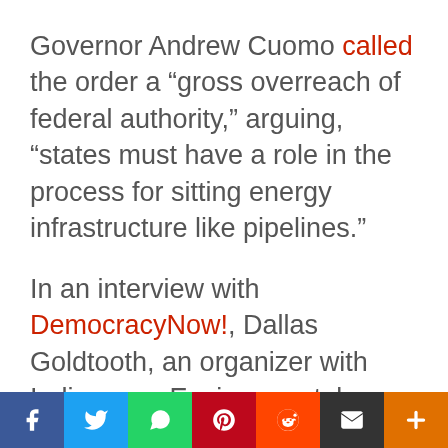Governor Andrew Cuomo called the order a “gross overreach of federal authority,” arguing, “states must have a role in the process for sitting energy infrastructure like pipelines.”
In an interview with DemocracyNow!, Dallas Goldtooth, an organizer with Indigenous Environmental Network, described what he perceived as hypocrisy regarding state’s rights:
“You know, what we’re seeing right now with these executive orders is nothing but an act of aggression against the authority for states to protect their homelands or protect the residents of their state and
[Figure (infographic): Social media share bar with buttons: Facebook (blue), Twitter (light blue), WhatsApp (green), Pinterest (red), Reddit (orange-red), Email (dark/black), Plus/More (orange)]